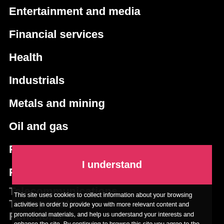Entertainment and media
Financial services
Health
Industrials
Metals and mining
Oil and gas
Power and utilities
Public sector
Telecommunications
Transportation
Functions
I understand
This site uses cookies to collect information about your browsing activities in order to provide you with more relevant content and promotional materials, and help us understand your interests and enhance the site. By continuing to browse this site you agree to the use of cookies. Visit our cookie policy to learn more.